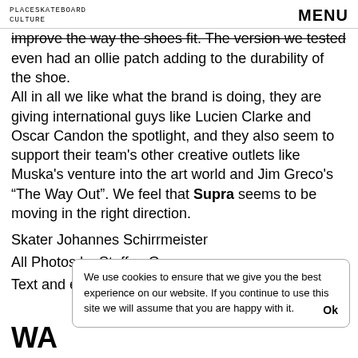PLACESKATEBOARD CULTURE | MENU
improve the way the shoes fit. The version we tested even had an ollie patch adding to the durability of the shoe. All in all we like what the brand is doing, they are giving international guys like Lucien Clarke and Oscar Candon the spotlight, and they also seem to support their team's other creative outlets like Muska's venture into the art world and Jim Greco's “The Way Out”. We feel that Supra seems to be moving in the right direction.
Skater Johannes Schirrmeister
All Photos by Steffen Grap
Text and edit by Roland Hoogwater
We use cookies to ensure that we give you the best experience on our website. If you continue to use this site we will assume that you are happy with it. Ok
WA